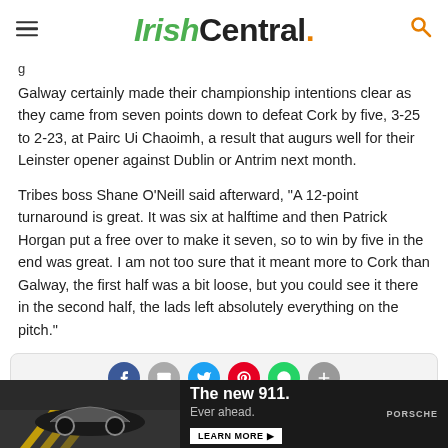IrishCentral.
g
Galway certainly made their championship intentions clear as they came from seven points down to defeat Cork by five, 3-25 to 2-23, at Pairc Ui Chaoimh, a result that augurs well for their Leinster opener against Dublin or Antrim next month.
Tribes boss Shane O’Neill said afterward, “A 12-point turnaround is great. It was six at halftime and then Patrick Horgan put a free over to make it seven, so to win by five in the end was great. I am not too sure that it meant more to Cork than Galway, the first half was a bit loose, but you could see it there in the second half, the lads left absolutely everything on the pitch.”
[Figure (screenshot): Social media embed showing The Ga[lway account] with Twitter bird icon and social sharing buttons (Facebook, email, Twitter, Pinterest, WhatsApp, plus). Below is a Porsche advertisement showing 'The new 911. Ever ahead. LEARN MORE' with a car image.]